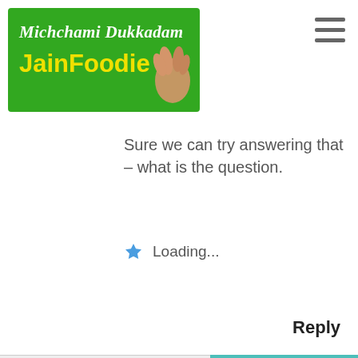[Figure (logo): JainFoodie website logo: green background with white italic 'Michchami Dukkadam' text and yellow bold 'JainFoodie' text, with a hand gesture illustration]
Sure we can try answering that – what is the question.
Loading...
Reply
Rajvee
July 18, 2014 at 6:01 AM
What is Jainism and how a person being called as jain .. is it one has to belong to jain family means by birth the person should be Jain or following Jainism things is ok ? For